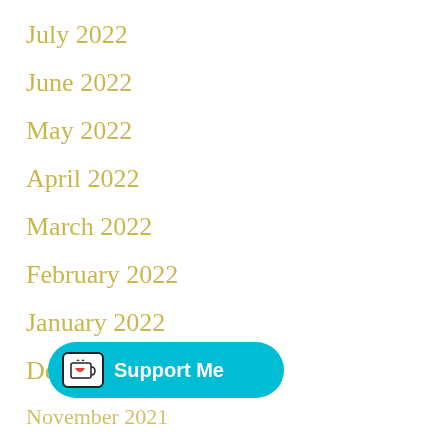July 2022
June 2022
May 2022
April 2022
March 2022
February 2022
January 2022
December 2021
November 2021
October 2021
[Figure (other): Ko-fi Support Me button with coffee cup icon]